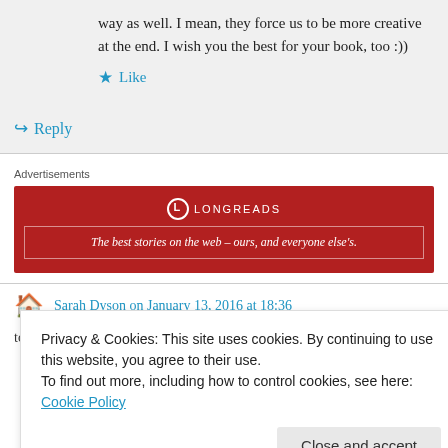way as well. I mean, they force us to be more creative at the end. I wish you the best for your book, too :))
★ Like
↪ Reply
Advertisements
[Figure (other): Longreads advertisement banner — red background with logo and tagline: The best stories on the web – ours, and everyone else's.]
Sarah Dyson on January 13, 2016 at 18:36
Privacy & Cookies: This site uses cookies. By continuing to use this website, you agree to their use.
To find out more, including how to control cookies, see here: Cookie Policy
Close and accept
tormenting in several ways. However, I intend to